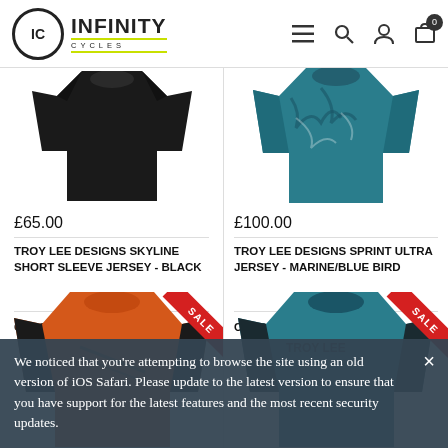Infinity Cycles
[Figure (photo): Black jersey product photo - Troy Lee Designs Skyline Short Sleeve Jersey Black]
£65.00
TROY LEE DESIGNS SKYLINE SHORT SLEEVE JERSEY - BLACK
CHECK STOCK
[Figure (photo): Teal/patterned jersey product photo - Troy Lee Designs Sprint Ultra Jersey Marine/Blue Bird]
£100.00
TROY LEE DESIGNS SPRINT ULTRA JERSEY - MARINE/BLUE BIRD
CHECK STOCK
[Figure (photo): Orange jersey with SALE ribbon - bottom left product]
[Figure (photo): Teal Troy Lee jersey with SALE ribbon - bottom right product]
We noticed that you're attempting to browse the site using an old version of iOS Safari. Please update to the latest version to ensure that you have support for the latest features and the most recent security updates.